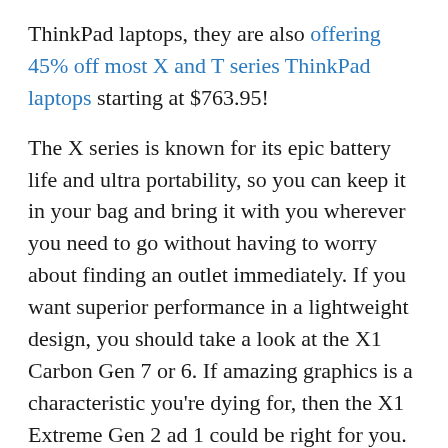ThinkPad laptops, they are also offering 45% off most X and T series ThinkPad laptops starting at $763.95!
The X series is known for its epic battery life and ultra portability, so you can keep it in your bag and bring it with you wherever you need to go without having to worry about finding an outlet immediately. If you want superior performance in a lightweight design, you should take a look at the X1 Carbon Gen 7 or 6. If amazing graphics is a characteristic you're dying for, then the X1 Extreme Gen 2 ad 1 could be right for you. For those who want the versatility of a 2-in-1 device,